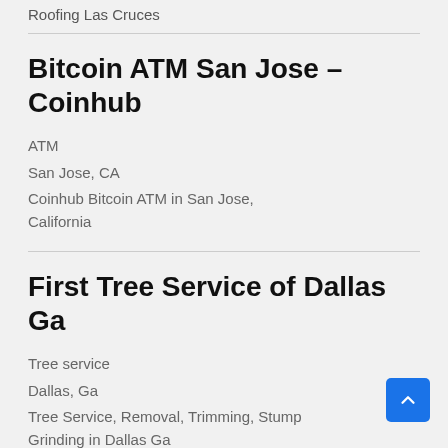Roofing Las Cruces
Bitcoin ATM San Jose – Coinhub
ATM
San Jose, CA
Coinhub Bitcoin ATM in San Jose, California
First Tree Service of Dallas Ga
Tree service
Dallas, Ga
Tree Service, Removal, Trimming, Stump Grinding in Dallas Ga